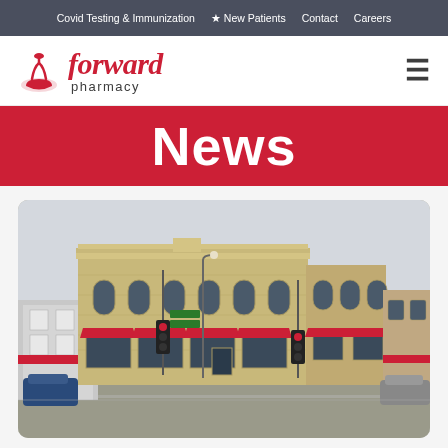Covid Testing & Immunization  ☆ New Patients  Contact  Careers
[Figure (logo): Forward Pharmacy logo with mortar and pestle icon, italic red 'forward' text and 'pharmacy' below]
News
[Figure (photo): Street-level photo of a historic two-story tan brick corner building with red awnings, traffic light, street signs, parked cars, and other storefronts visible on a cloudy day]